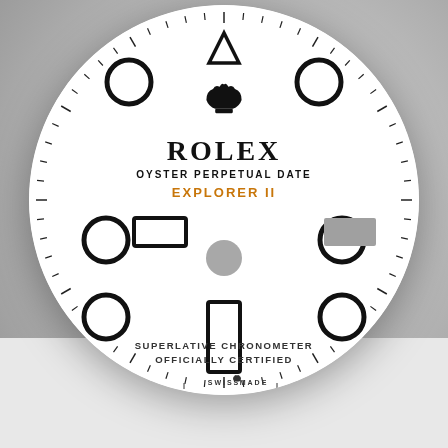[Figure (illustration): Rolex Oyster Perpetual Date Explorer II watch dial. White dial with black hour markers (circles at 2,4,8,10 o'clock positions; rectangles at 3 and 9; rectangle at 6; triangle at 12). Orange 24-hour hand visible. Text: ROLEX, OYSTER PERPETUAL DATE, EXPLORER II (in orange), SUPERLATIVE CHRONOMETER OFFICIALLY CERTIFIED, SWISS MADE. Minute tick marks around dial edge.]